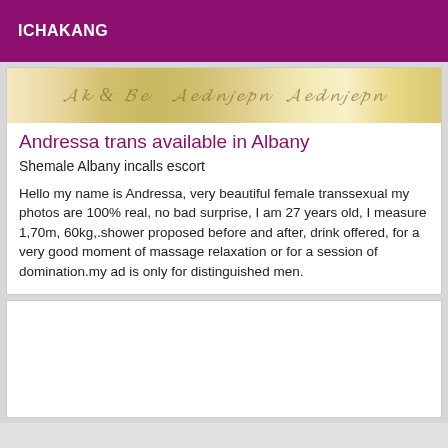ICHAKANG
[Figure (photo): Decorative handwritten or calligraphic text on aged/yellowed paper background]
Andressa trans available in Albany
Shemale Albany incalls escort
Hello my name is Andressa, very beautiful female transsexual my photos are 100% real, no bad surprise, I am 27 years old, I measure 1,70m, 60kg,.shower proposed before and after, drink offered, for a very good moment of massage relaxation or for a session of domination.my ad is only for distinguished men.